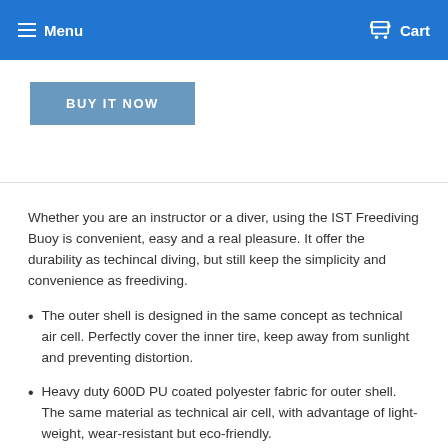Menu  Cart
BUY IT NOW
Whether you are an instructor or a diver, using the IST Freediving Buoy is convenient, easy and a real pleasure. It offer the durability as techincal diving, but still keep the simplicity and convenience as freediving.
The outer shell is designed in the same concept as technical air cell. Perfectly cover the inner tire, keep away from sunlight and preventing distortion.
Heavy duty 600D PU coated polyester fabric for outer shell. The same material as technical air cell, with advantage of light-weight, wear-resistant but eco-friendly.
Ultra high-grade rubber for inner tire, same as trucks. (15"